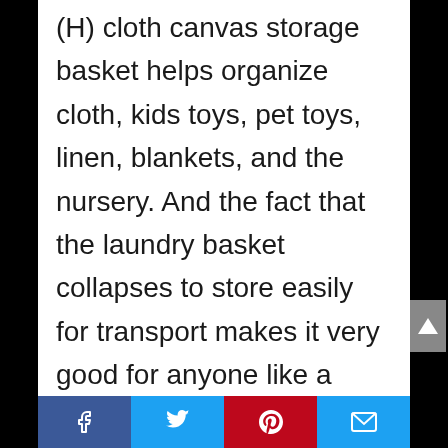(H) cloth canvas storage basket helps organize cloth, kids toys, pet toys, linen, blankets, and the nursery. And the fact that the laundry basket collapses to store easily for transport makes it very good for anyone like a student.
UPGRADED HANDLE – These laundry hampers design with extra thickened and large leather handle with stainless rivet make it comfortable to carry and transport. More durable and comfortable. Lightweight and collapsible, easy to storing.
Facebook | Twitter | Pinterest | Email